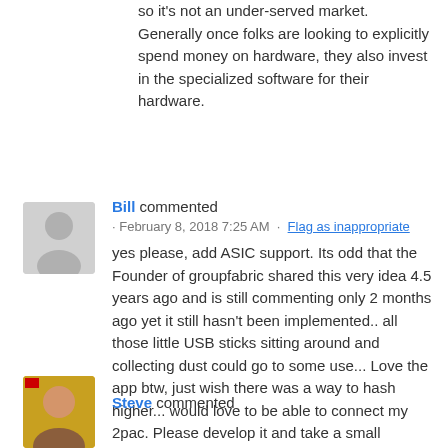so it's not an under-served market. Generally once folks are looking to explicitly spend money on hardware, they also invest in the specialized software for their hardware.
Bill commented · February 8, 2018 7:25 AM · Flag as inappropriate
yes please, add ASIC support. Its odd that the Founder of groupfabric shared this very idea 4.5 years ago and is still commenting only 2 months ago yet it still hasn't been implemented.. all those little USB sticks sitting around and collecting dust could go to some use... Love the app btw, just wish there was a way to hash higher... would love to be able to connect my 2pac. Please develop it and take a small percentage of the mining on top of your ad revenue to pay for it. Love the app BTW- great, easy, idiot proof interface.
Steve commented